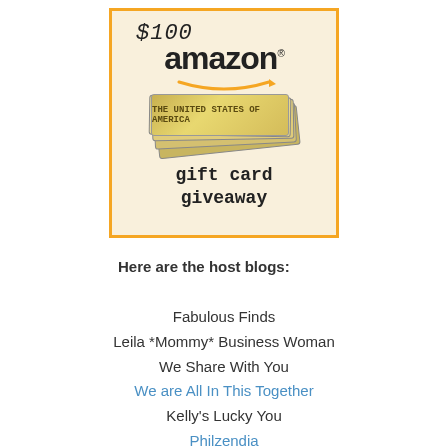[Figure (illustration): Amazon $100 gift card giveaway promotional image. Orange-bordered box with warm beige/yellow background. Shows '$100' in handwritten style at top left, 'amazon' logo with trademark symbol and orange smile arrow beneath, a stack of US dollar bills in the center, and 'gift card giveaway' text in typewriter font at bottom.]
Here are the host blogs:
Fabulous Finds
Leila *Mommy* Business Woman
We Share With You
We are All In This Together
Kelly's Lucky You
Philzendia
The WiC Project
About A Mom
Kaeli's Kiwis